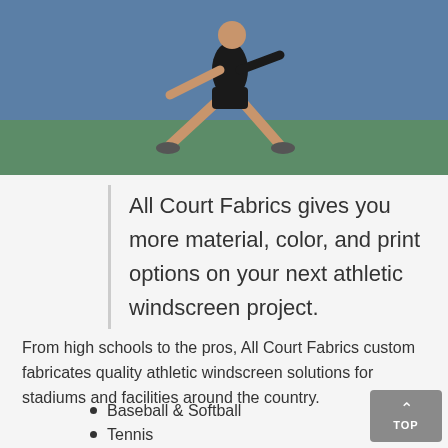[Figure (photo): A tennis player mid-lunge on a court, wearing black athletic gear, with a blue wall in the background]
All Court Fabrics gives you more material, color, and print options on your next athletic windscreen project.
From high schools to the pros, All Court Fabrics custom fabricates quality athletic windscreen solutions for stadiums and facilities around the country.
Baseball & Softball
Tennis